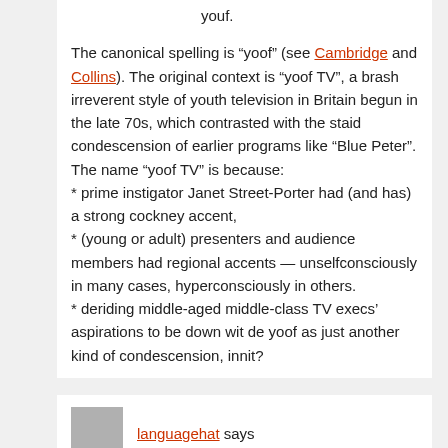youf.
The canonical spelling is “yoof” (see Cambridge and Collins). The original context is “yoof TV”, a brash irreverent style of youth television in Britain begun in the late 70s, which contrasted with the staid condescension of earlier programs like “Blue Peter”. The name “yoof TV” is because:
* prime instigator Janet Street-Porter had (and has) a strong cockney accent,
* (young or adult) presenters and audience members had regional accents — unselfconsciously in many cases, hyperconsciously in others.
* deriding middle-aged middle-class TV execs’ aspirations to be down wit de yoof as just another kind of condescension, innit?
languagehat says